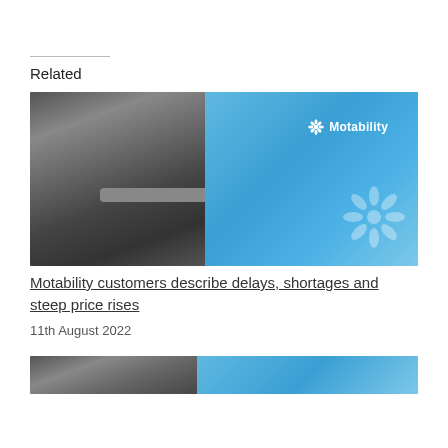Related
[Figure (photo): Photo showing a dark car door on the left and a bright blue Motability branded banner/display on the right, with the Motability logo (flower icon and 'Motability' text) visible in white on the blue background.]
Motability customers describe delays, shortages and steep price rises
11th August 2022
[Figure (photo): Partial view of a second related article image, similar to the first — showing a dark car and blue Motability branded background, cropped at the bottom of the page.]